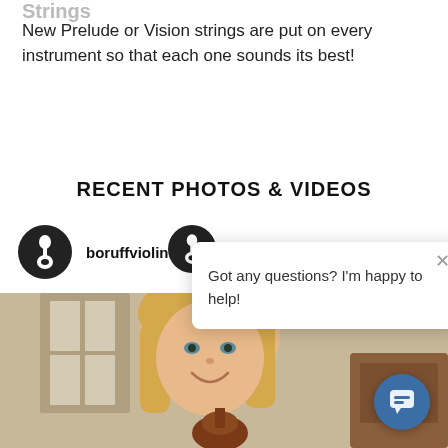Strings
New Prelude or Vision strings are put on every instrument so that each one sounds its best!
RECENT PHOTOS & VIDEOS
boruffviolinstud...
[Figure (screenshot): Chat popup overlay with violin icon, close button (×), and text: 'Got any questions? I'm happy to help!']
[Figure (photo): Photo of a young blonde girl smiling and holding a violin, with indoor background visible on the right side.]